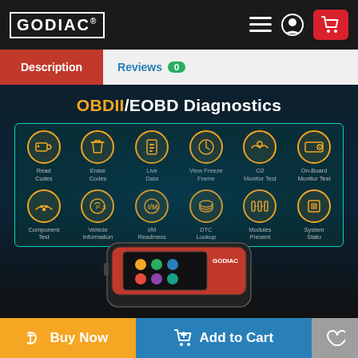GODIAC®
Description | Reviews 0
[Figure (infographic): OBDII/EOBD Diagnostics product page image showing 12 diagnostic function icons (Read Codes, Erase Codes, Live Data, View Freeze Frame, O2 Monitor Test, On-Board Monitor Test, Component Test, Vehicle Information, I/M Readiness, DTC Lookup, Modules Present, System Statu) in a teal-bordered grid, with GODIAC diagnostic scan tool device below]
Buy Now
Add to Cart